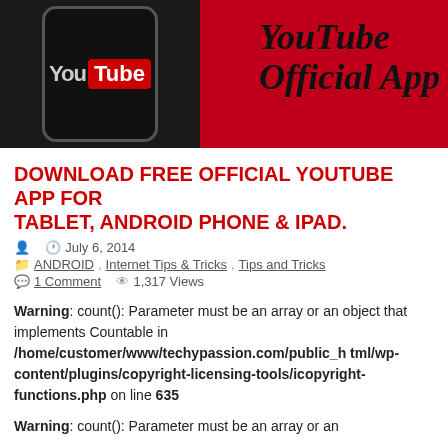[Figure (illustration): YouTube Official App banner: dark phone with YouTube logo on left, red background, 'YouTube Official App' in script text on right]
DOWNLOAD FREE OFFICIAL YOUTUBE APP FOR TABLET, ANDROID PHONE & IPAD.
July 6, 2014
ANDROID, Internet Tips & Tricks, Tips and Tricks
1 Comment   1,317 Views
Warning: count(): Parameter must be an array or an object that implements Countable in /home/customer/www/techypassion.com/public_html/wp-content/plugins/copyright-licensing-tools/icopyright-functions.php on line 635
Warning: count(): Parameter must be an array or an